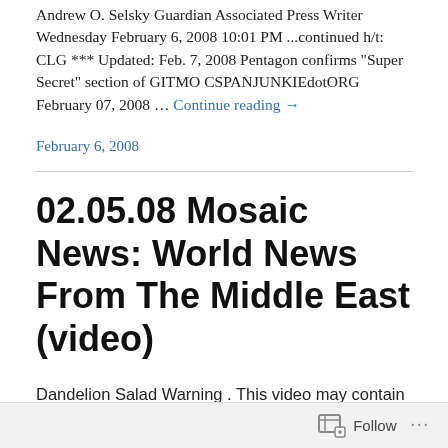Andrew O. Selsky Guardian Associated Press Writer Wednesday February 6, 2008 10:01 PM ...continued h/t: CLG *** Updated: Feb. 7, 2008 Pentagon confirms "Super Secret" section of GITMO CSPANJUNKIEdotORG February 07, 2008 … Continue reading →
February 6, 2008
02.05.08 Mosaic News: World News From The Middle East (video)
Dandelion Salad Warning . This video may contain images depicting the reality and horror of war and should only be viewed by a mature audience. linktv For more:
Follow